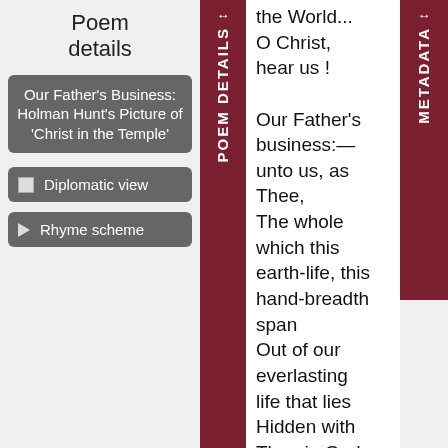Poem details
Our Father's Business: Holman Hunt's Picture of 'Christ in the Temple'
Diplomatic view
Rhyme scheme
POEM DETAILS
O Christ, hear us !

Our Father's business:—unto us, as Thee,
The whole which this earth-life, this hand-breadth span
Out of our everlasting life that lies
Hidden with Thee in God, can ask or
METADATA